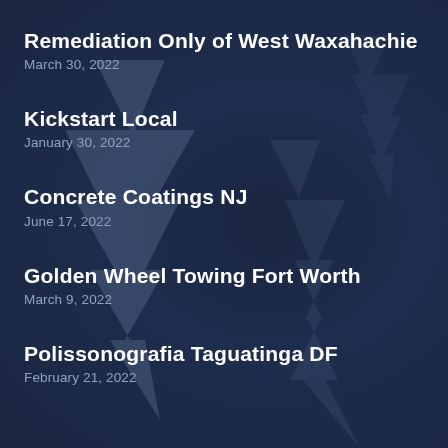Remediation Only of West Waxahachie
March 30, 2022
Kickstart Local
January 30, 2022
Concrete Coatings NJ
June 17, 2022
Golden Wheel Towing Fort Worth
March 9, 2022
Polissonografia Taguatinga DF
February 21, 2022